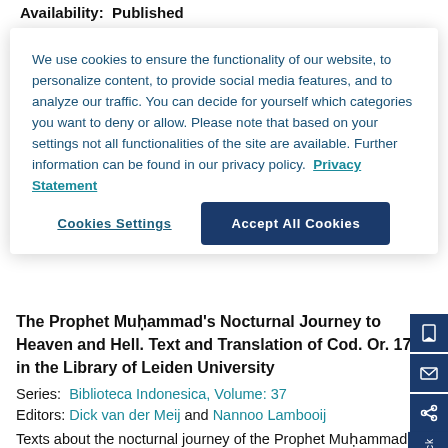Availability:  Published
We use cookies to ensure the functionality of our website, to personalize content, to provide social media features, and to analyze our traffic. You can decide for yourself which categories you want to deny or allow. Please note that based on your settings not all functionalities of the site are available. Further information can be found in our privacy policy.  Privacy Statement
Cookies Settings
Accept All Cookies
The Prophet Muḥammad's Nocturnal Journey to Heaven and Hell. Text and Translation of Cod. Or. 1713 in the Library of Leiden University
Series:  Biblioteca Indonesica, Volume: 37
Editors: Dick van der Meij and Nannoo Lambooij
Texts about the nocturnal journey of the Prophet Muḥammad (Mi'rāj) abound in the Muslim world